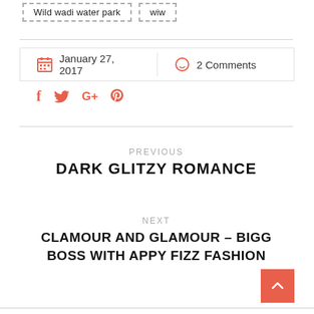Wild wadi water park
wiw
January 27, 2017   2 Comments
[Figure (infographic): Social share icons: Facebook (f), Twitter bird, Google+, Pinterest]
PREVIOUS
DARK GLITZY ROMANCE
NEXT
CLAMOUR AND GLAMOUR – BIGG BOSS WITH APPY FIZZ FASHION